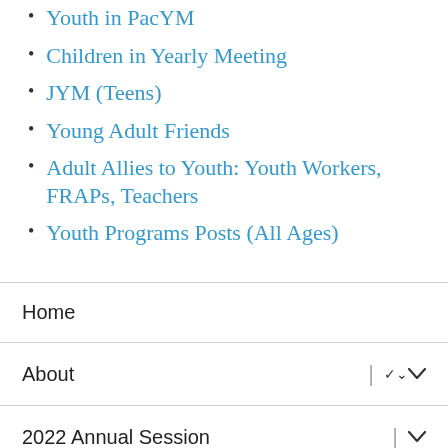Youth in PacYM
Children in Yearly Meeting
JYM (Teens)
Young Adult Friends
Adult Allies to Youth: Youth Workers, FRAPs, Teachers
Youth Programs Posts (All Ages)
Home
About
2022 Annual Session
Events